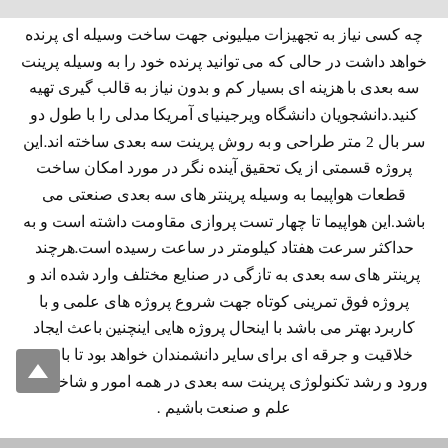چه کسی نیاز به تجهیزات میلیونی جهت ساخت وسیله ای پرنده خواهد داشت در حالی که می توانید پرنده خود را به وسیله پرینت سه بعدی با هزینه ای بسیار کم و بدون نیاز به قالب گیری تهیه کنید.دانشجویان دانشگاه ویرجینیای آمریکا مدلی را با طول دو سر بال 2 متر طراحی و به روش پرینت سه بعدی ساخته اند.این پروژه قسمتی از یک تحقیق آینده نگر در مورد امکان ساخت قطعات هواپیما به وسیله پرینتر های سه بعدی صنعتی می باشد.این هواپیما تا چهار تست پروازی مقاومت داشته است و به حداکثر سرعت هفتاد کیلومتر در ساعت رسیده است.هرچند پرینتر های سه بعدی به تازگی در صنایع مختلف وارد شده اند و پروژه فوق تمرینی کوتاه جهت شروع پروژه های علمی و با کاربرد بهتر می باشد با اینحال پروژه هایی اینچنین باعث ایجاد خلاقیت و جرقه ای برای سایر دانشمندان خواهد بود تا باعث ورود و رشد تکنولوژی پرینت سه بعدی در همه امور و شاخه های علم و صنعت باشیم .